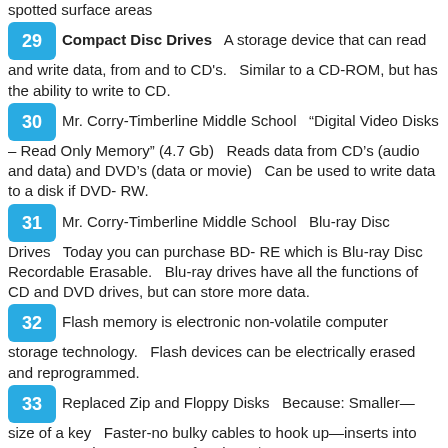spotted surface areas
29  Compact Disc Drives  A storage device that can read and write data, from and to CD's.  Similar to a CD-ROM, but has the ability to write to CD.
30  Mr. Corry-Timberline Middle School  "Digital Video Disks – Read Only Memory" (4.7 Gb)  Reads data from CD's (audio and data) and DVD's (data or movie)  Can be used to write data to a disk if DVD- RW.
31  Mr. Corry-Timberline Middle School  Blu-ray Disc Drives  Today you can purchase BD- RE which is Blu-ray Disc Recordable Erasable.  Blu-ray drives have all the functions of CD and DVD drives, but can store more data.
32  Flash memory is electronic non-volatile computer storage technology.  Flash devices can be electrically erased and reprogrammed.
33  Replaced Zip and Floppy Disks  Because: Smaller—size of a key  Faster-no bulky cables to hook up—inserts into USB port  Cheaper—1 GB for about $6 1 – USB Connector 2 – USB Mass Controller Device 3 – Test points 4 – Flash memory chip 5 – Crystal oscillator 6 – LED 7 – Write-protect switch (Optional) 8 – Space for second flash memory chip